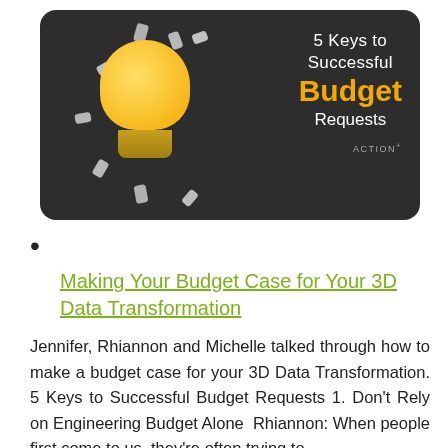[Figure (illustration): Dark rounded rectangle thumbnail image showing a yellow light bulb surrounded by metal screws on a dark background. Text on the right reads '5 Keys to Successful Budget Requests' with 'Budget' in yellow/orange bold text. ACTION logo in bottom right corner.]
•
Making Your Budget Case for Your 3D Data Transformation
Jennifer, Rhiannon and Michelle talked through how to make a budget case for your 3D Data Transformation. 5 Keys to Successful Budget Requests 1. Don't Rely on Engineering Budget Alone  Rhiannon: When people first come to us, they're often trying to